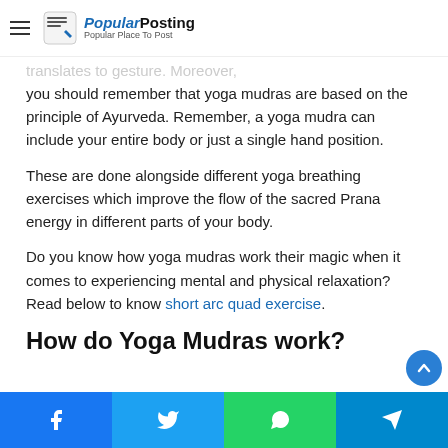Popular Posting — Popular Place To Post
...translates to gesture. Moreover, you should remember that yoga mudras are based on the principle of Ayurveda. Remember, a yoga mudra can include your entire body or just a single hand position.
These are done alongside different yoga breathing exercises which improve the flow of the sacred Prana energy in different parts of your body.
Do you know how yoga mudras work their magic when it comes to experiencing mental and physical relaxation? Read below to know short arc quad exercise.
How do Yoga Mudras work?
Facebook | Twitter | WhatsApp | Telegram